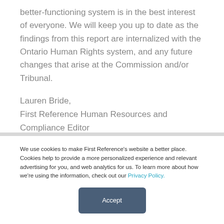better-functioning system is in the best interest of everyone. We will keep you up to date as the findings from this report are internalized with the Ontario Human Rights system, and any future changes that arise at the Commission and/or Tribunal.
Lauren Bride,
First Reference Human Resources and Compliance Editor
We use cookies to make First Reference's website a better place. Cookies help to provide a more personalized experience and relevant advertising for you, and web analytics for us. To learn more about how we're using the information, check out our Privacy Policy.